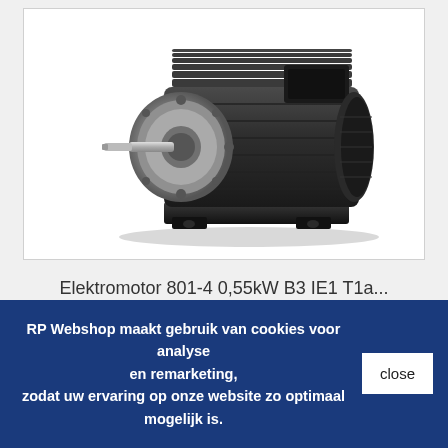[Figure (photo): Black electric motor (Elektromotor) with silver front mounting flange and shaft, model 801-4, viewed from front-left angle, on white background]
Elektromotor 801-4 0,55kW B3 IE1 T1a...
Meer
+ Aan vergelijken toevoegen
RP Webshop maakt gebruik van cookies voor analyse en remarketing, zodat uw ervaring op onze website zo optimaal mogelijk is.
close